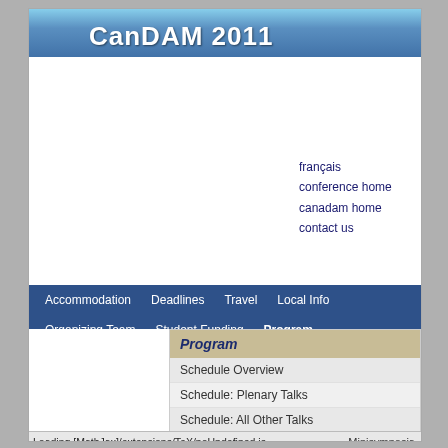[Figure (screenshot): CanDAM 2011 conference website screenshot showing banner with sky background and title, navigation menu with Accommodation, Deadlines, Travel, Local Info, Organizing Team, Student Funding, Program items, and a Program dropdown with Schedule Overview, Schedule: Plenary Talks, Schedule: All Other Talks, Schedule: Invited Minisymposia, and partial Minisymposia entry. Nav links include français, conference home, canadam home, contact us.]
CanDAM 2011
français
conference home
canadam home
contact us
Accommodation
Deadlines
Travel
Local Info
Organizing Team
Student Funding
Program
Program
Schedule Overview
Schedule: Plenary Talks
Schedule: All Other Talks
Schedule: Invited Minisymposia
Minisymposia
Loading [MathJax]/extensions/TeX/noUndefined.js